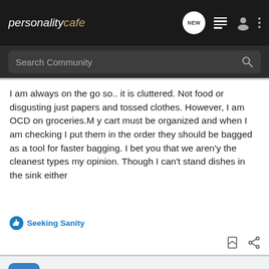personalitycafe
Search Community
I am always on the go so.. it is cluttered. Not food or disgusting just papers and tossed clothes. However, I am OCD on groceries.M y cart must be organized and when I am checking I put them in the order they should be bagged as a tool for faster bagging. I bet you that we aren'y the cleanest types my opinion. Though I can't stand dishes in the sink either
Seeking Sanity
Enigma0z · Registered
Joined Jul 17, 2010 · 146 Posts
#3 · Jul 28, 2010